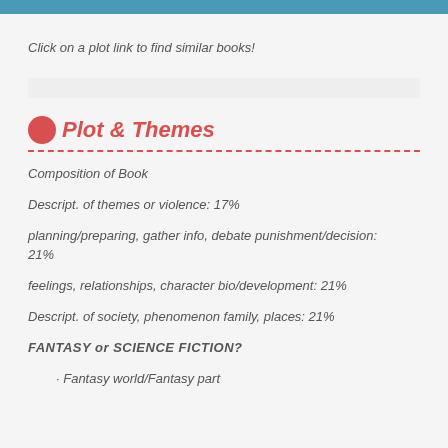Click on a plot link to find similar books!
Plot & Themes
Composition of Book
Descript. of themes or violence: 17%
planning/preparing, gather info, debate punishment/decision: 21%
feelings, relationships, character bio/development: 21%
Descript. of society, phenomenon family, places: 21%
FANTASY or SCIENCE FICTION?
Fantasy world/Fantasy part